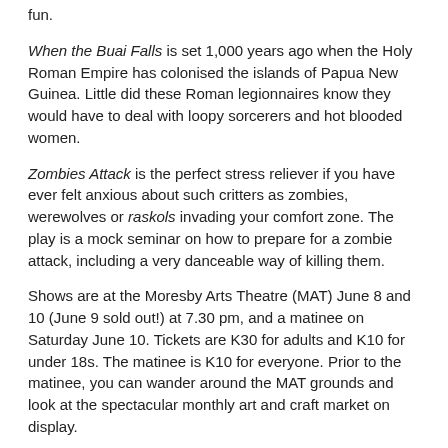fun.
When the Buai Falls is set 1,000 years ago when the Holy Roman Empire has colonised the islands of Papua New Guinea. Little did these Roman legionnaires know they would have to deal with loopy sorcerers and hot blooded women.
Zombies Attack is the perfect stress reliever if you have ever felt anxious about such critters as zombies, werewolves or raskols invading your comfort zone. The play is a mock seminar on how to prepare for a zombie attack, including a very danceable way of killing them.
Shows are at the Moresby Arts Theatre (MAT) June 8 and 10 (June 9 sold out!) at 7.30 pm, and a matinee on Saturday June 10. Tickets are K30 for adults and K10 for under 18s. The matinee is K10 for everyone. Prior to the matinee, you can wander around the MAT grounds and look at the spectacular monthly art and craft market on display.
Tickets are available from MAT, Waterfront and Boroko Foodworld.
Tags: